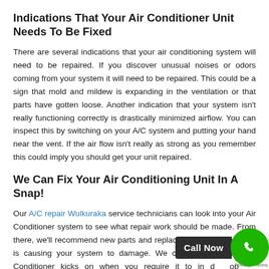Indications That Your Air Conditioner Unit Needs To Be Fixed
There are several indications that your air conditioning system will need to be repaired. If you discover unusual noises or odors coming from your system it will need to be repaired. This could be a sign that mold and mildew is expanding in the ventilation or that parts have gotten loose. Another indication that your system isn't really functioning correctly is drastically minimized airflow. You can inspect this by switching on your A/C system and putting your hand near the vent. If the air flow isn't really as strong as you remember this could imply you should get your unit repaired.
We Can Fix Your Air Conditioning Unit In A Snap!
Our A/C repair Wulkuraka service technicians can look into your Air Conditioner system to see what repair work should be made. From there, we'll recommend new parts and replace any component that is causing your system to damage. We could ensure your Air Conditioner kicks on when you require it to in order to provide optimal convenience and fresh air. We have actually serviced many different a/c systems throughout the years, and we're confident in our